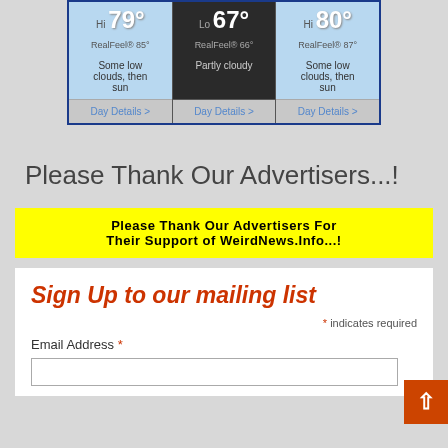[Figure (screenshot): Weather widget showing three columns: Hi 79° RealFeel® 85° Some low clouds, then sun / Day Details >; Lo 67° RealFeel® 66° Partly cloudy / Day Details >; Hi 80° RealFeel® 87° Some low clouds, then sun / Day Details >]
Please Thank Our Advertisers...!
[Figure (infographic): Yellow banner reading: Please Thank Our Advertisers For Their Support of WeirdNews.Info...!]
Sign Up to our mailing list
* indicates required
Email Address *